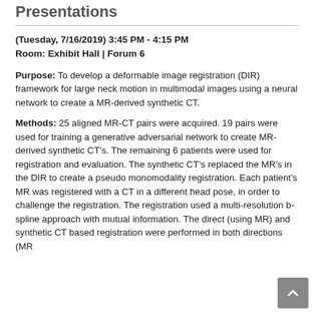Presentations
(Tuesday, 7/16/2019) 3:45 PM - 4:15 PM
Room: Exhibit Hall | Forum 6
Purpose: To develop a deformable image registration (DIR) framework for large neck motion in multimodal images using a neural network to create a MR-derived synthetic CT.
Methods: 25 aligned MR-CT pairs were acquired. 19 pairs were used for training a generative adversarial network to create MR-derived synthetic CTâ€™s. The remaining 6 patients were used for registration and evaluation. The synthetic CTâ€™s replaced the MRâ€™s in the DIR to create a pseudo monomodality registration. Each patientâ€™s MR was registered with a CT in a different head pose, in order to challenge the registration. The registration used a multi-resolution b-spline approach with mutual information. The direct (using MR) and synthetic CT based registration were performed in both directions (MR